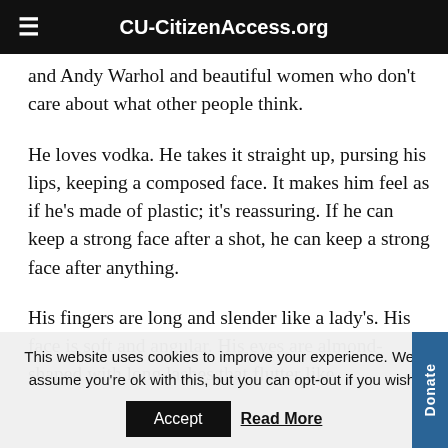CU-CitizenAccess.org
and Andy Warhol and beautiful women who don't care about what other people think.
He loves vodka. He takes it straight up, pursing his lips, keeping a composed face. It makes him feel as if he's made of plastic; it's reassuring. If he can keep a strong face after a shot, he can keep a strong face after anything.
His fingers are long and slender like a lady's. His face is soft and angular. His eyes are almond-shaped with long lashes that flutter like
This website uses cookies to improve your experience. We'll assume you're ok with this, but you can opt-out if you wish.